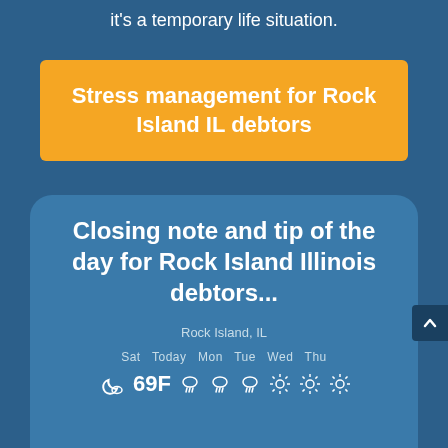it's a temporary life situation.
Stress management for Rock Island IL debtors
Closing note and tip of the day for Rock Island Illinois debtors...
Rock Island, IL
Sat  Today  Mon  Tue  Wed  Thu
[Figure (infographic): Weather widget showing 69F with moon/cloud icon for Saturday, rain icons for Today/Mon/Tue, sun icons for Wed/Thu/Sat]